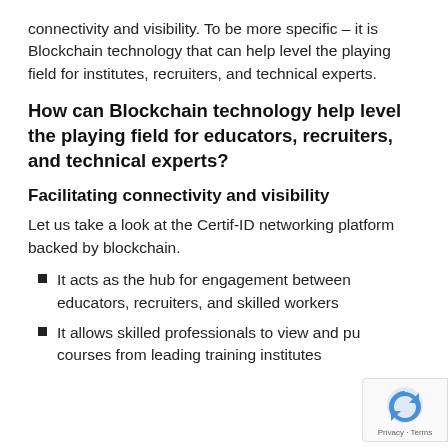connectivity and visibility. To be more specific – it is Blockchain technology that can help level the playing field for institutes, recruiters, and technical experts.
How can Blockchain technology help level the playing field for educators, recruiters, and technical experts?
Facilitating connectivity and visibility
Let us take a look at the Certif-ID networking platform backed by blockchain.
It acts as the hub for engagement between educators, recruiters, and skilled workers
It allows skilled professionals to view and purchase courses from leading training institutes